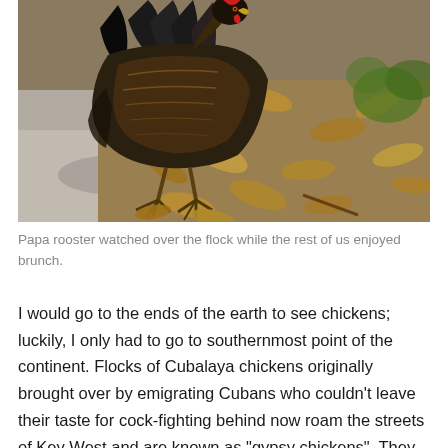[Figure (photo): A dark-feathered rooster (Cubalaya/gypsy chicken) pecking on the ground surrounded by dry fallen leaves and some green vegetation. The bird has black and golden-brown plumage and visible talons.]
Papa rooster watched over the flock while the rest of us enjoyed brunch.
I would go to the ends of the earth to see chickens; luckily, I only had to go to southernmost point of the continent. Flocks of Cubalaya chickens originally brought over by emigrating Cubans who couldn't leave their taste for cock-fighting behind now roam the streets of Key West and are known as “gypsy chickens”. They are more attractive and